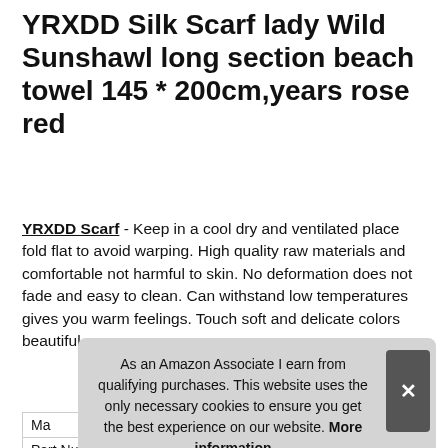YRXDD Silk Scarf lady Wild Sunshawl long section beach towel 145 * 200cm,years rose red
YRXDD Scarf - Keep in a cool dry and ventilated place fold flat to avoid warping. High quality raw materials and comfortable not harmful to skin. No deformation does not fade and easy to clean. Can withstand low temperatures gives you warm feelings. Touch soft and delicate colors beautiful.
More information
As an Amazon Associate I earn from qualifying purchases. This website uses the only necessary cookies to ensure you get the best experience on our website. More information
| Ma |  |
| Part Number | 9388654600892 |